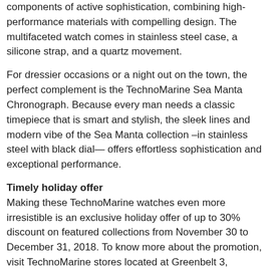components of active sophistication, combining high-performance materials with compelling design. The multifaceted watch comes in stainless steel case, a silicone strap, and a quartz movement.
For dressier occasions or a night out on the town, the perfect complement is the TechnoMarine Sea Manta Chronograph. Because every man needs a classic timepiece that is smart and stylish, the sleek lines and modern vibe of the Sea Manta collection –in stainless steel with black dial— offers effortless sophistication and exceptional performance.
Timely holiday offer
Making these TechnoMarine watches even more irresistible is an exclusive holiday offer of up to 30% discount on featured collections from November 30 to December 31, 2018. To know more about the promotion, visit TechnoMarine stores located at Greenbelt 3, Robinson's Galleria, Robinson's Magnolia, Shangri-La Plaza, SM City Cebu, SM Lanang Premier Davao, SM Mall of Asia, SM Megamall, SM North Edsa, TriNoma, and Uptown Mall.